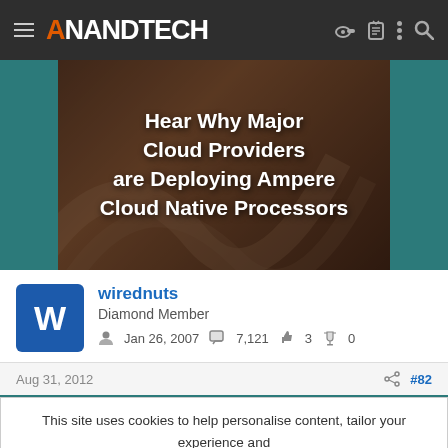AnandTech
[Figure (screenshot): Banner image: Hear Why Major Cloud Providers are Deploying Ampere Cloud Native Processors]
Hear Why Major Cloud Providers are Deploying Ampere Cloud Native Processors
wirednuts
Diamond Member
Jan 26, 2007   7,121   3   0
Aug 31, 2012   #82
This site uses cookies to help personalise content, tailor your experience and to keep you logged in if you register.
By continuing to use this site, you are consenting to our use of cookies.